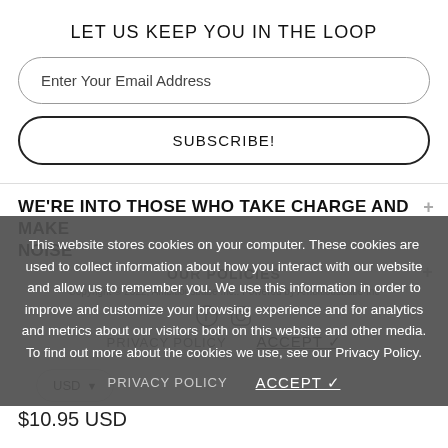LET US KEEP YOU IN THE LOOP
Enter Your Email Address
SUBSCRIBE!
WE'RE INTO THOSE WHO TAKE CHARGE AND MAKE NOISE
OUR POLICIES
This website stores cookies on your computer. These cookies are used to collect information about how you interact with our website and allow us to remember you. We use this information in order to improve and customize your browsing experience and for analytics and metrics about our visitors both on this website and other media. To find out more about the cookies we use, see our Privacy Policy.
Copyright © 2022, Ambitiousbabe Inc.. Powered by Ambitiousbabe Inc
PRIVACY POLICY   ACCEPT ✓
USD
$10.95 USD